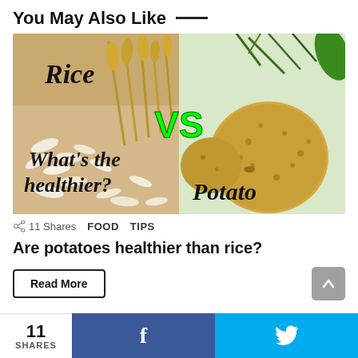You May Also Like —
[Figure (illustration): Composite image showing rice on the left and a potato on the right with 'VS' in green in the center. Text overlaid: 'Rice', 'What's the healthier?', 'Potato']
11 Shares   FOOD   TIPS
Are potatoes healthier than rice?
Read More
11 SHARES   f   🐦